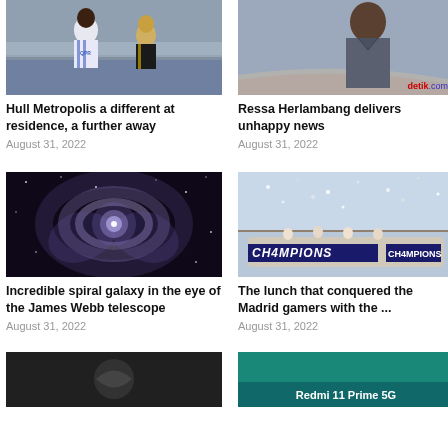[Figure (photo): Football match photo with player in white blue QPR jersey and player in black gold jersey]
Hull Metropolis a different at residence, a further away
August 31, 2022
[Figure (photo): Portrait of man in grey shirt, detik.com watermark]
Ressa Herlambang delivers unhappy news
August 31, 2022
[Figure (photo): Spiral galaxy photographed by James Webb telescope]
Incredible spiral galaxy in the eye of the James Webb telescope
August 31, 2022
[Figure (photo): Real Madrid Champions celebration with CH4MPIONS banner and confetti]
The lunch that conquered the Madrid gamers with the ...
August 31, 2022
[Figure (photo): Dark bottom-left image]
[Figure (photo): Redmi 11 Prime 5G advertisement on teal background]
Redmi 11 Prime 5G